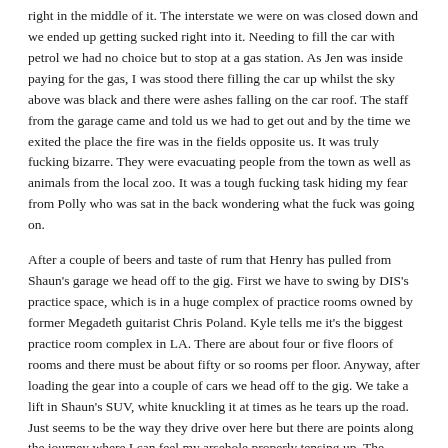right in the middle of it. The interstate we were on was closed down and we ended up getting sucked right into it. Needing to fill the car with petrol we had no choice but to stop at a gas station. As Jen was inside paying for the gas, I was stood there filling the car up whilst the sky above was black and there were ashes falling on the car roof. The staff from the garage came and told us we had to get out and by the time we exited the place the fire was in the fields opposite us. It was truly fucking bizarre. They were evacuating people from the town as well as animals from the local zoo. It was a tough fucking task hiding my fear from Polly who was sat in the back wondering what the fuck was going on.
After a couple of beers and taste of rum that Henry has pulled from Shaun's garage we head off to the gig. First we have to swing by DIS's practice space, which is in a huge complex of practice rooms owned by former Megadeth guitarist Chris Poland. Kyle tells me it's the biggest practice room complex in LA. There are about four or five floors of rooms and there must be about fifty or so rooms per floor. Anyway, after loading the gear into a couple of cars we head off to the gig. We take a lift in Shaun's SUV, white knuckling it at times as he tears up the road. Just seems to be the way they drive over here but there are points along the journey where I can feel my arsehole properly tensing up. The tension is tamed at least by the chat we have with Shaun as he drives, telling us about his job and his family situation with his dad and his own kid, who he gets to see at weekends. He seems like a really good guy and it's nice chatting about our kids and stuff, even if I'm sat there at times hoping to fuck I'll see mine again.